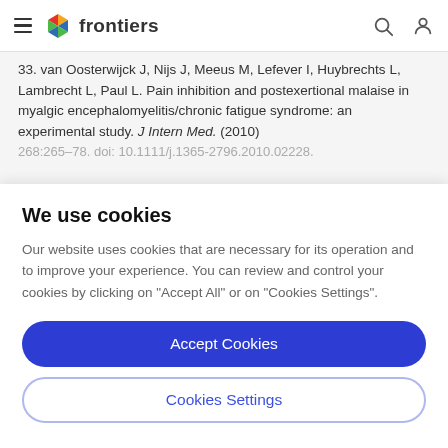frontiers
33. van Oosterwijck J, Nijs J, Meeus M, Lefever I, Huybrechts L, Lambrecht L, Paul L. Pain inhibition and postexertional malaise in myalgic encephalomyelitis/chronic fatigue syndrome: an experimental study. J Intern Med. (2010) 268:265–78. doi: 10.1111/j.1365-2796.2010.02228.
We use cookies
Our website uses cookies that are necessary for its operation and to improve your experience. You can review and control your cookies by clicking on "Accept All" or on "Cookies Settings".
Accept Cookies
Cookies Settings